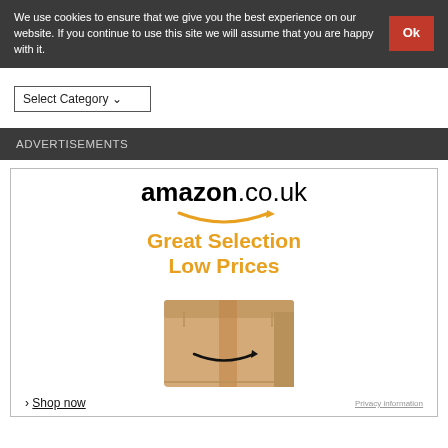We use cookies to ensure that we give you the best experience on our website. If you continue to use this site we will assume that you are happy with it.  Ok
Select Category
ADVERTISEMENTS
[Figure (other): Amazon.co.uk advertisement banner showing the Amazon logo with smile arrow, text 'Great Selection Low Prices', a cardboard box with Amazon smile logo, a 'Shop now' link, and 'Privacy information' small text.]